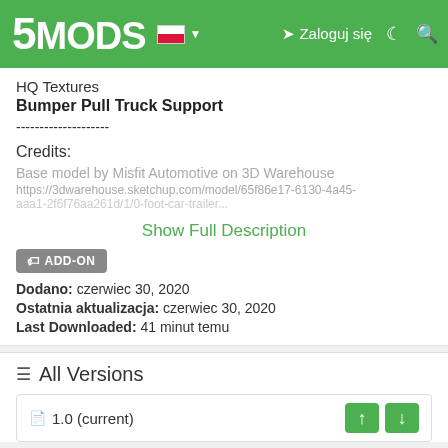5MODS | Zaloguj się
HQ Textures
Bumper Pull Truck Support
--------------------
Credits:
Base model by Misfit Automotive on 3D Warehouse
https://3dwarehouse.sketchup.com/model/65f86e17-6130-4a45-...
Show Full Description
ADD-ON
Dodano: czerwiec 30, 2020
Ostatnia aktualizacja: czerwiec 30, 2020
Last Downloaded: 41 minut temu
All Versions
1.0 (current)